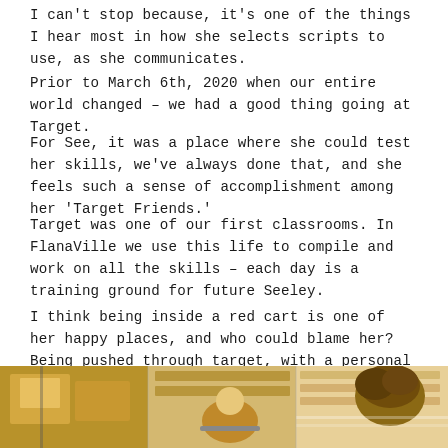I can't stop because, it's one of the things I hear most in how she selects scripts to use, as she communicates.
Prior to March 6th, 2020 when our entire world changed – we had a good thing going at Target.
For See, it was a place where she could test her skills, we've always done that, and she feels such a sense of accomplishment among her 'Target Friends.'
Target was one of our first classrooms. In FlanaVille we use this life to compile and work on all the skills – each day is a training ground for future Seeley.
I think being inside a red cart is one of her happy places, and who could blame her? Being pushed through target, with a personal tour guide, sounds like my happy place too.
[Figure (photo): Photo strip showing a child in a red Target cart inside a Target store, with store shelves visible in the background.]